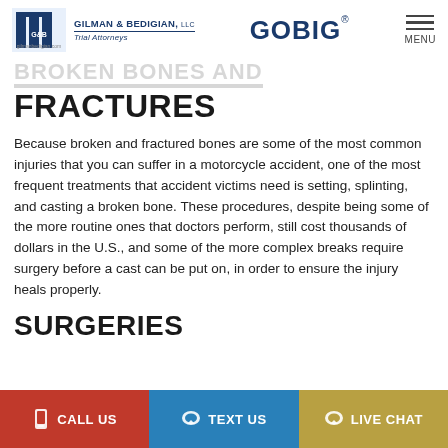GILMAN & BEDIGIAN, LLC Trial Attorneys | GOBIG | MENU
BROKEN BONES AND
FRACTURES
Because broken and fractured bones are some of the most common injuries that you can suffer in a motorcycle accident, one of the most frequent treatments that accident victims need is setting, splinting, and casting a broken bone. These procedures, despite being some of the more routine ones that doctors perform, still cost thousands of dollars in the U.S., and some of the more complex breaks require surgery before a cast can be put on, in order to ensure the injury heals properly.
SURGERIES
CALL US | TEXT US | LIVE CHAT